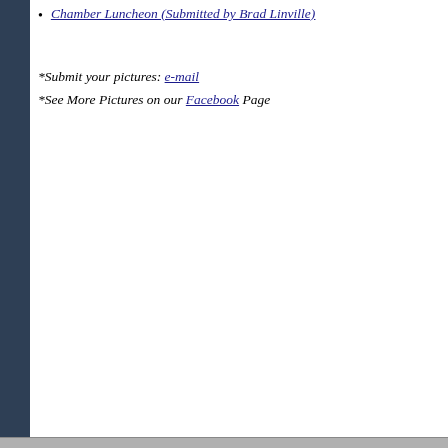Chamber Luncheon (Submitted by Brad Linville)
*Submit your pictures: e-mail
*See More Pictures on our Facebook Page